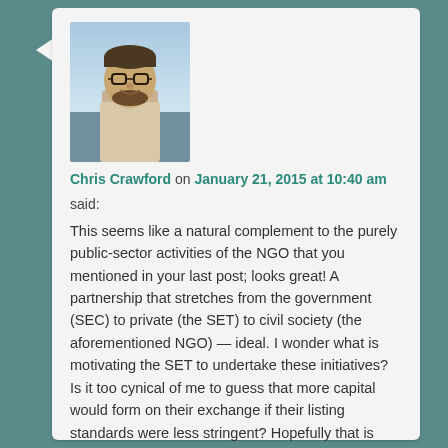[Figure (photo): Profile photo of a young man with glasses and beard, smiling, wearing a light shirt]
Chris Crawford on January 21, 2015 at 10:40 am
said:
This seems like a natural complement to the purely public-sector activities of the NGO that you mentioned in your last post; looks great! A partnership that stretches from the government (SEC) to private (the SET) to civil society (the aforementioned NGO) — ideal. I wonder what is motivating the SET to undertake these initiatives? Is it too cynical of me to guess that more capital would form on their exchange if their listing standards were less stringent? Hopefully that is indeed too cynical. Maybe listing requirements that encourage transparent and responsible corporate practices will have the effect of clearing out the riff-raff and attracting high-quality listers and investors. A related thought: I wonder if these